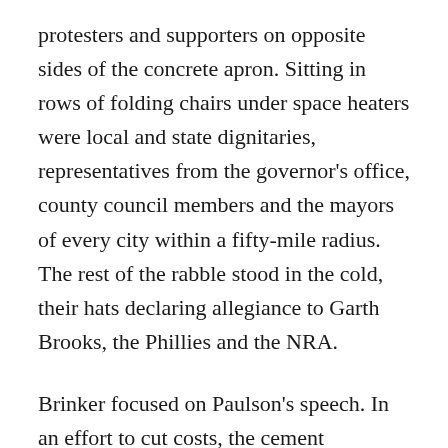protesters and supporters on opposite sides of the concrete apron. Sitting in rows of folding chairs under space heaters were local and state dignitaries, representatives from the governor's office, county council members and the mayors of every city within a fifty-mile radius. The rest of the rabble stood in the cold, their hats declaring allegiance to Garth Brooks, the Phillies and the NRA.
Brinker focused on Paulson's speech. In an effort to cut costs, the cement company wanted to burn hazardous waste. Residents weren't convinced by the company's health studies, which showed emissions